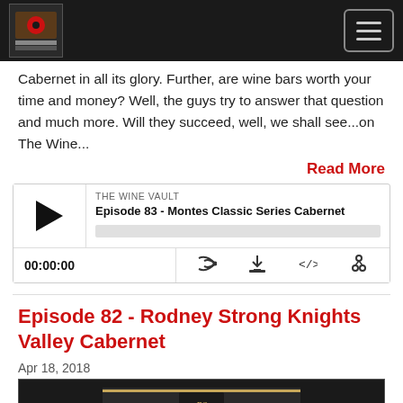The Wine Vault podcast header with logo and hamburger menu
Cabernet in all its glory.  Further, are wine bars worth your time and money?  Well, the guys try to answer that question and much more.  Will they succeed, well, we shall see...on The Wine...
Read More
[Figure (screenshot): Podcast player widget for Episode 83 - Montes Classic Series Cabernet on The Wine Vault. Shows play button, episode title, progress bar, timestamp 00:00:00, and control icons.]
Episode 82 - Rodney Strong Knights Valley Cabernet
Apr 18, 2018
[Figure (photo): Bottom portion of an image with dark background and RS logo/emblem in center]